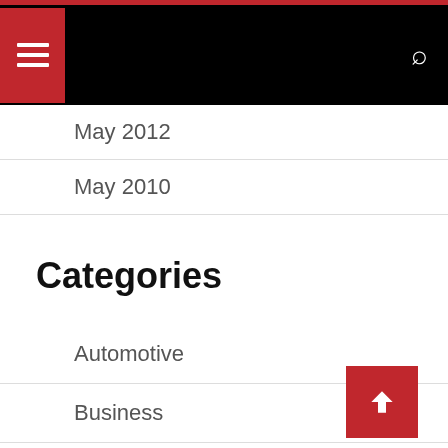Navigation bar with menu and search
May 2012
May 2010
Categories
Automotive
Business
Dental
Digital Marketing
Education